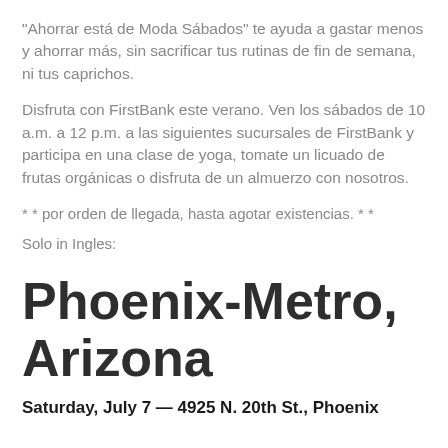“Ahorrar está de Moda Sábados” te ayuda a gastar menos y ahorrar más, sin sacrificar tus rutinas de fin de semana, ni tus caprichos.
Disfruta con FirstBank este verano. Ven los sábados de 10 a.m. a 12 p.m. a las siguientes sucursales de FirstBank y participa en una clase de yoga, tomate un licuado de frutas orgánicas o disfruta de un almuerzo con nosotros.
* * por orden de llegada, hasta agotar existencias. * *
Solo in Ingles:
Phoenix-Metro, Arizona
Saturday, July 7 — 4925 N. 20th St., Phoenix